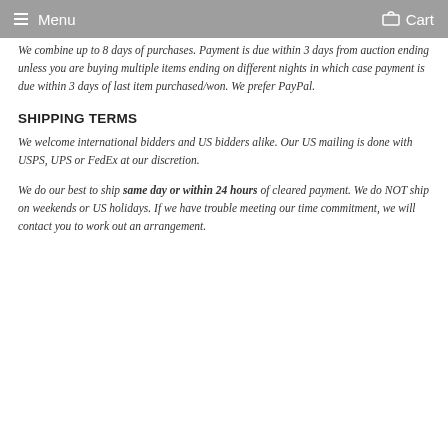Menu   Cart
We combine up to 8 days of purchases. Payment is due within 3 days from auction ending unless you are buying multiple items ending on different nights in which case payment is due within 3 days of last item purchased/won. We prefer PayPal.
SHIPPING TERMS
We welcome international bidders and US bidders alike. Our US mailing is done with USPS, UPS or FedEx at our discretion.
We do our best to ship same day or within 24 hours of cleared payment. We do NOT ship on weekends or US holidays. If we have trouble meeting our time commitment, we will contact you to work out an arrangement.